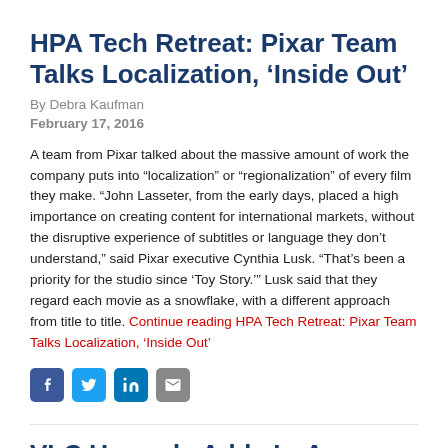HPA Tech Retreat: Pixar Team Talks Localization, ‘Inside Out’
By Debra Kaufman
February 17, 2016
A team from Pixar talked about the massive amount of work the company puts into “localization” or “regionalization” of every film they make. “John Lasseter, from the early days, placed a high importance on creating content for international markets, without the disruptive experience of subtitles or language they don’t understand,” said Pixar executive Cynthia Lusk. “That’s been a priority for the studio since ‘Toy Story.’” Lusk said that they regard each movie as a snowflake, with a different approach from title to title. Continue reading HPA Tech Retreat: Pixar Team Talks Localization, ‘Inside Out’
[Figure (infographic): Social share icons: Facebook, Twitter, LinkedIn, Email]
VLC Upgrade Adds In-App Extensions